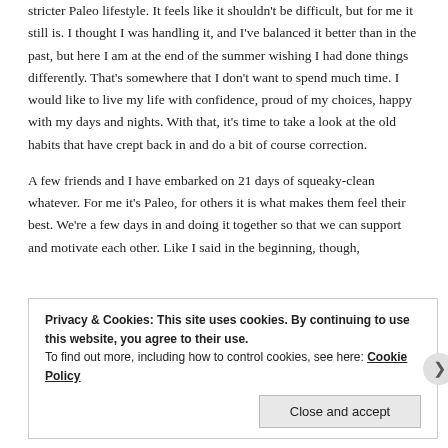stricter Paleo lifestyle. It feels like it shouldn't be difficult, but for me it still is. I thought I was handling it, and I've balanced it better than in the past, but here I am at the end of the summer wishing I had done things differently. That's somewhere that I don't want to spend much time. I would like to live my life with confidence, proud of my choices, happy with my days and nights. With that, it's time to take a look at the old habits that have crept back in and do a bit of course correction.
A few friends and I have embarked on 21 days of squeaky-clean whatever. For me it's Paleo, for others it is what makes them feel their best. We're a few days in and doing it together so that we can support and motivate each other. Like I said in the beginning, though,
Privacy & Cookies: This site uses cookies. By continuing to use this website, you agree to their use.
To find out more, including how to control cookies, see here: Cookie Policy
Close and accept